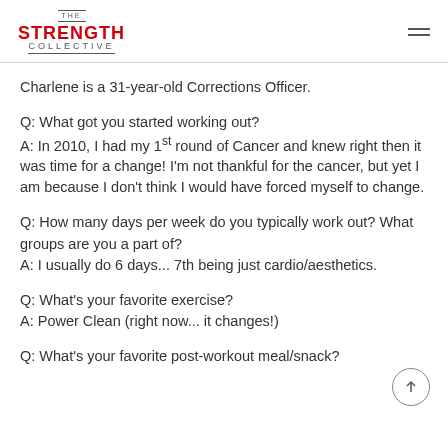THE STRENGTH COLLECTIVE
Charlene is a 31-year-old Corrections Officer.
Q: What got you started working out?
A: In 2010, I had my 1st round of Cancer and knew right then it was time for a change! I'm not thankful for the cancer, but yet I am because I don't think I would have forced myself to change.
Q: How many days per week do you typically work out? What groups are you a part of?
A: I usually do 6 days... 7th being just cardio/aesthetics.
Q: What's your favorite exercise?
A: Power Clean (right now... it changes!)
Q: What's your favorite post-workout meal/snack?